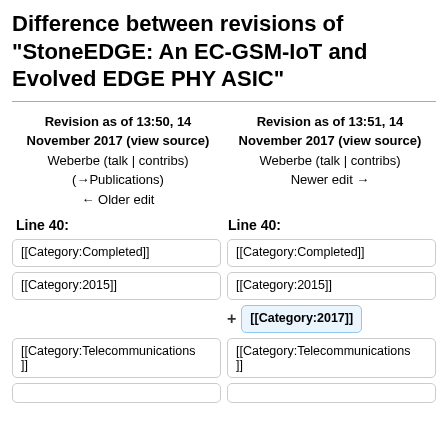Difference between revisions of "StoneEDGE: An EC-GSM-IoT and Evolved EDGE PHY ASIC"
| Left Revision | Right Revision |
| --- | --- |
| Revision as of 13:50, 14 November 2017 (view source)
Weberbe (talk | contribs)
(→Publications)
← Older edit | Revision as of 13:51, 14 November 2017 (view source)
Weberbe (talk | contribs)
Newer edit → |
Line 40:
Line 40:
[[Category:Completed]]
[[Category:Completed]]
[[Category:2015]]
[[Category:2015]]
+ [[Category:2017]]
[[Category:Telecommunications]]
[[Category:Telecommunications]]